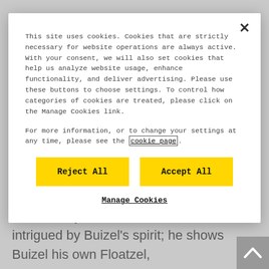Turtwig when the Grass-type Pokémon tries to play peacemaker. It's not a promising start to the morning but the Pastoria Gym Leader, Crasher Wake, is intrigued by Buizel's spirit; he shows Buizel his own Floatzel,
This site uses cookies. Cookies that are strictly necessary for website operations are always active. With your consent, we will also set cookies that help us analyze website usage, enhance functionality, and deliver advertising. Please use these buttons to choose settings. To control how categories of cookies are treated, please click on the Manage Cookies link.
For more information, or to change your settings at any time, please see the cookie page.
Reject All
Accept All
Manage Cookies